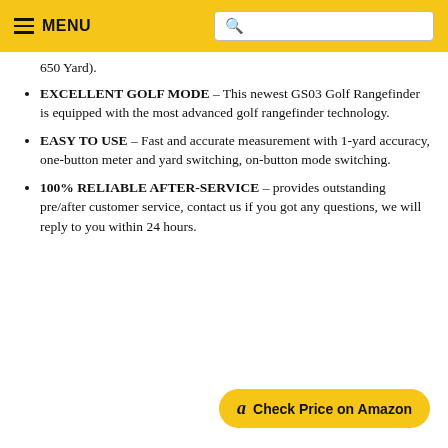MENU [search bar]
650 Yard).
EXCELLENT GOLF MODE – This newest GS03 Golf Rangefinder is equipped with the most advanced golf rangefinder technology.
EASY TO USE – Fast and accurate measurement with 1-yard accuracy, one-button meter and yard switching, on-button mode switching.
100% RELIABLE AFTER-SERVICE – provides outstanding pre/after customer service, contact us if you got any questions, we will reply to you within 24 hours.
Check Price on Amazon